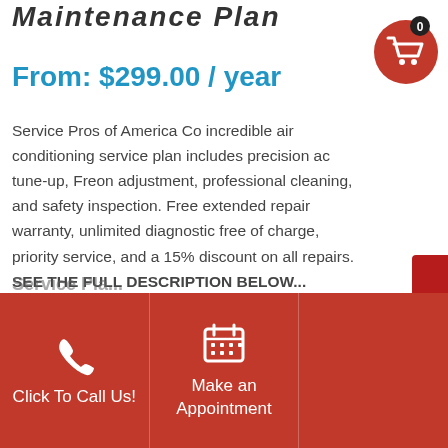Maintenance Plan
From: $299.00 / year
Service Pros of America Co incredible air conditioning service plan includes precision ac tune-up, Freon adjustment, professional cleaning, and safety inspection. Free extended repair warranty, unlimited diagnostic free of charge, priority service, and a 15% discount on all repairs. SEE THE FULL DESCRIPTION BELOW...
Service Pla...
Click To Call Us!
Make an Appointment